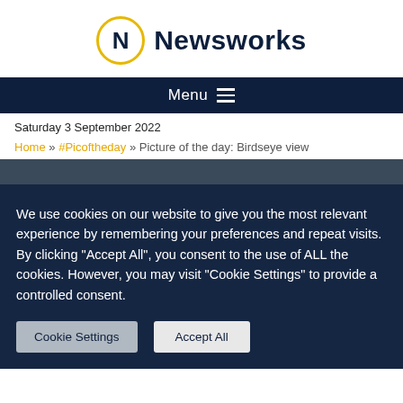[Figure (logo): Newsworks logo: circular N emblem with gold border next to 'Newsworks' wordmark in dark navy]
Menu
Saturday 3 September 2022
Home » #Picoftheday » Picture of the day: Birdseye view
[Figure (photo): Partial photo strip showing a bird's-eye view image]
We use cookies on our website to give you the most relevant experience by remembering your preferences and repeat visits. By clicking "Accept All", you consent to the use of ALL the cookies. However, you may visit "Cookie Settings" to provide a controlled consent.
Cookie Settings   Accept All